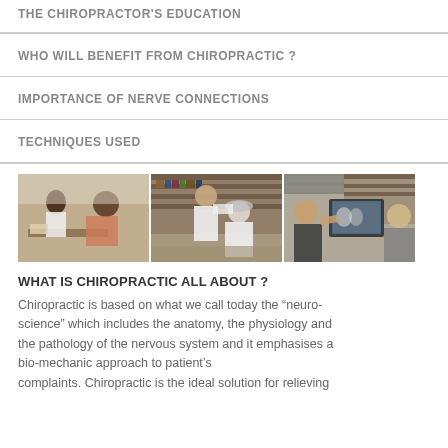THE CHIROPRACTOR'S EDUCATION
WHO WILL BENEFIT FROM CHIROPRACTIC ?
IMPORTANCE OF NERVE CONNECTIONS
TECHNIQUES USED
[Figure (photo): Three photos showing chiropractic consultation scenes: a practitioner with a patient at a desk, a chiropractor examining a seated patient near bookshelves, and two people reviewing an X-ray on a computer screen.]
WHAT IS CHIROPRACTIC ALL ABOUT ?
Chiropractic is based on what we call today the “neuro-science” which includes the anatomy, the physiology and the pathology of the nervous system and it emphasises a bio-mechanic approach to patient’s complaints. Chiropractic is the ideal solution for relieving